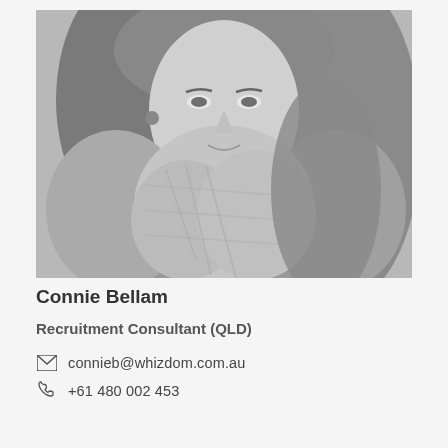[Figure (photo): Black and white portrait photo of Connie Bellam, a woman with long hair wearing a patterned scarf and earrings, smiling.]
Connie Bellam
Recruitment Consultant (QLD)
connieb@whizdom.com.au
+61 480 002 453